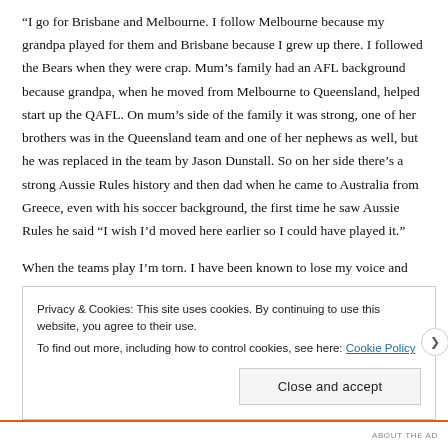“I go for Brisbane and Melbourne. I follow Melbourne because my grandpa played for them and Brisbane because I grew up there. I followed the Bears when they were crap. Mum’s family had an AFL background because grandpa, when he moved from Melbourne to Queensland, helped start up the QAFL. On mum’s side of the family it was strong, one of her brothers was in the Queensland team and one of her nephews as well, but he was replaced in the team by Jason Dunstall. So on her side there’s a strong Aussie Rules history and then dad when he came to Australia from Greece, even with his soccer background, the first time he saw Aussie Rules he said “I wish I’d moved here earlier so I could have played it.”
When the teams play I’m torn. I have been known to lose my voice and seem like a strange person cheering for both sides at the same
Privacy & Cookies: This site uses cookies. By continuing to use this website, you agree to their use.
To find out more, including how to control cookies, see here: Cookie Policy
Close and accept